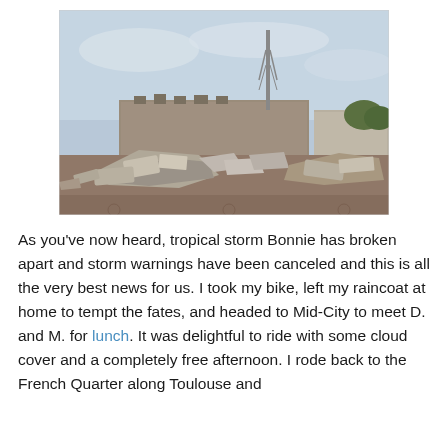[Figure (photo): Photograph of storm debris and destroyed equipment piled up in front of industrial buildings, with a communications tower visible in the background against an overcast sky.]
As you've now heard, tropical storm Bonnie has broken apart and storm warnings have been canceled and this is all the very best news for us. I took my bike, left my raincoat at home to tempt the fates, and headed to Mid-City to meet D. and M. for lunch. It was delightful to ride with some cloud cover and a completely free afternoon. I rode back to the French Quarter along Toulouse and